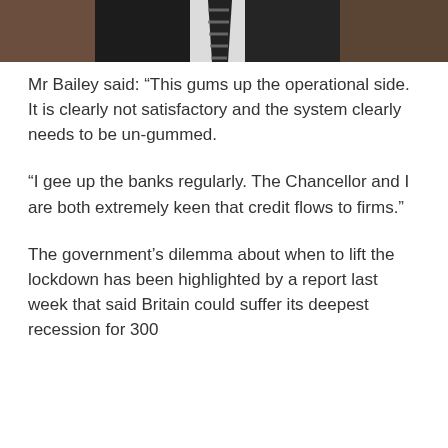[Figure (photo): Partial photo of a man in a dark suit with a striped tie, cropped to show only the lower face/neck and upper torso area.]
Mr Bailey said: “This gums up the operational side. It is clearly not satisfactory and the system clearly needs to be un-gummed.
“I gee up the banks regularly. The Chancellor and I are both extremely keen that credit flows to firms.”
The government’s dilemma about when to lift the lockdown has been highlighted by a report last week that said Britain could suffer its deepest recession for 300